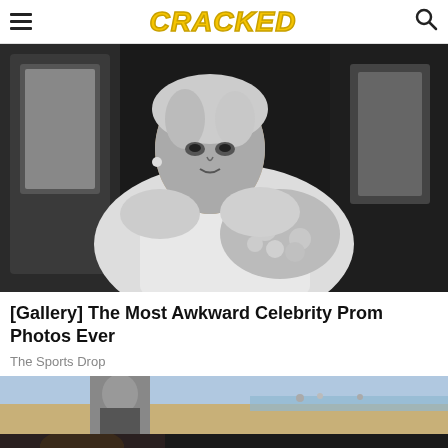CRACKED (navigation header with hamburger menu and search icon)
[Figure (photo): Black and white vintage photo of a young woman in formal/prom attire, wearing a pearl necklace and holding a bouquet of flowers, appearing to be in or near a vehicle]
[Gallery] The Most Awkward Celebrity Prom Photos Ever
The Sports Drop
[Figure (photo): Partial color photo showing a man and a beach/outdoor scene in the background]
[Figure (photo): Advertisement banner: KISS BORING LIPS GOODBYE with a woman's face showing red lips, SHOP NOW button and Macy's star logo]